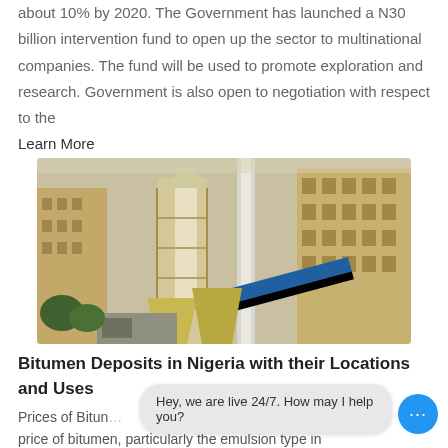about 10% by 2020. The Government has launched a N30 billion intervention fund to open up the sector to multinational companies. The fund will be used to promote exploration and research. Government is also open to negotiation with respect to the
Learn More
[Figure (photo): Aerial view of an industrial plant or mining facility with multi-storey yellow/tan buildings, large silos, conveyor belts, and scaffolding]
Bitumen Deposits in Nigeria with their Locations and Uses
Prices of Bitumen
price of bitumen, particularly the emulsion type in